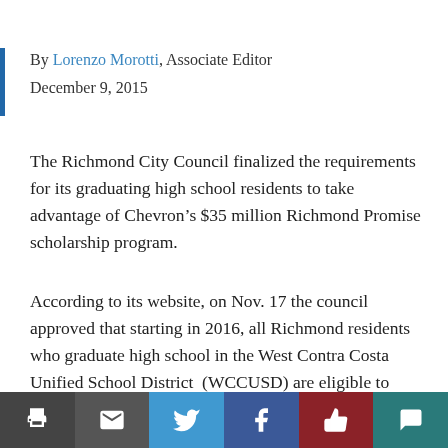By Lorenzo Morotti, Associate Editor
December 9, 2015
The Richmond City Council finalized the requirements for its graduating high school residents to take advantage of Chevron’s $35 million Richmond Promise scholarship program.
According to its website, on Nov. 17 the council approved that starting in 2016, all Richmond residents who graduate high school in the West Contra Costa Unified School District (WCCUSD) are eligible to receive up to $1,500 for their initial year in college — regardless if they choose to go to a four-year university or community college.
Interim Contra Costa College President Mojdeh Mehdizadeh said the original wording in the Richmond Promise was not